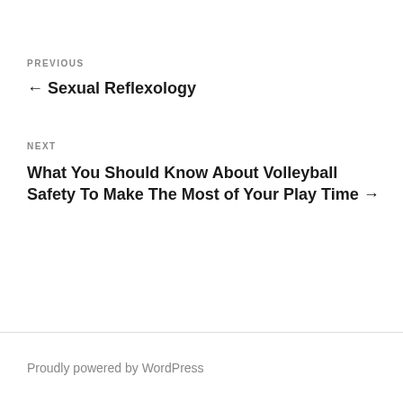PREVIOUS
← Sexual Reflexology
NEXT
What You Should Know About Volleyball Safety To Make The Most of Your Play Time →
Proudly powered by WordPress